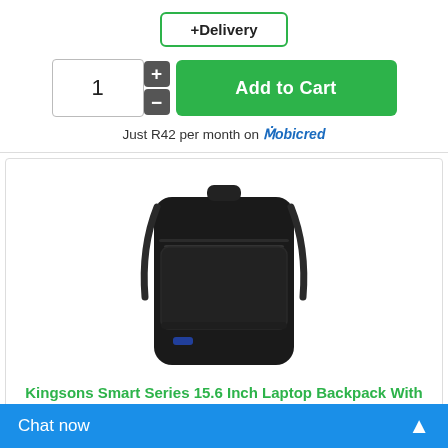+Delivery
1
Add to Cart
Just R42 per month on mobicred
[Figure (photo): Black Kingsons Smart Series 15.6 Inch Laptop Backpack with USB Port (KS3144W), viewed from the front.]
Kingsons Smart Series 15.6 Inch Laptop Backpack With USB Port (KS3144W)
The Smart Series Laptop Backpack has smart looks for the individual who needs ...
R689.99
Chat now